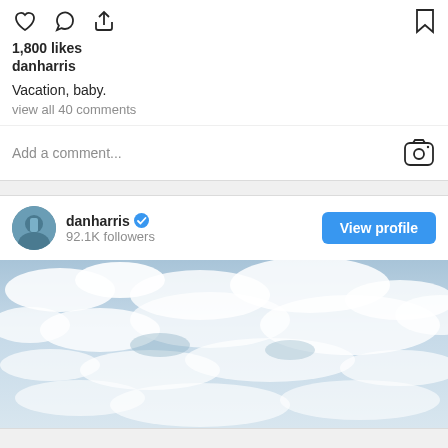[Figure (screenshot): Instagram post action icons: heart, comment bubble, share arrow on left; bookmark on right]
1,800 likes
danharris
Vacation, baby.
view all 40 comments
Add a comment...
danharris
92.1K followers
[Figure (photo): Sky photo with textured clouds against blue sky, vacation photo]